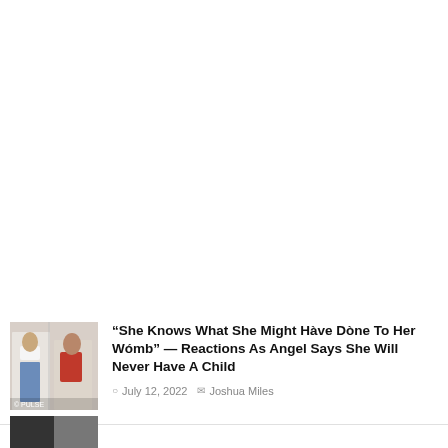[Figure (photo): Thumbnail image of two women posing, one in white crop top and jeans, one in red outfit]
“She Knows What She Might Hàve Dòne To Her Wómb” — Reactions As Angel Says She Will Never Have A Child
July 12, 2022  Joshua Miles
[Figure (photo): Partial thumbnail image at bottom of page, partially cut off]